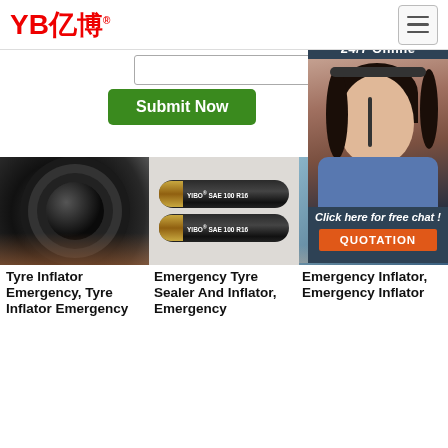YB亿博® [logo] | hamburger menu
[Figure (screenshot): Search input field]
[Figure (screenshot): Submit Now green button and 24/7 Online chat panel with agent photo, 'Click here for free chat!' text, and QUOTATION orange button]
[Figure (photo): Close-up of rubber hose end showing circular cross-section held by hand]
[Figure (photo): Two black SAE 100 R16 YIBO branded hoses on grey background]
[Figure (photo): Laptop on desk workspace]
Tyre Inflator Emergency, Tyre Inflator Emergency
Emergency Tyre Sealer And Inflator, Emergency
Emergency Inflator, Emergency Inflator